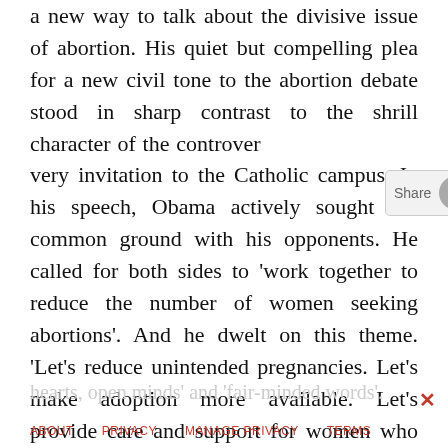a new way to talk about the divisive issue of abortion. His quiet but compelling plea for a new civil tone to the abortion debate stood in sharp contrast to the shrill character of the controver[sy surrounding the] very invitation to the Catholic campus. In his speech, Obama actively sought out common ground with his opponents. He called for both sides to 'work together to reduce the number of women seeking abortions'. And he dwelt on this theme. 'Let's reduce unintended pregnancies. Let's make adoption more available. Let's provide care and support for women who do carry their children to term.' He also made a plea for 'oper[n
hearts, open minds' and 'fair-minded words'.
ABOUT   PRIVACY   MANAGE PRIVACY   TERMS